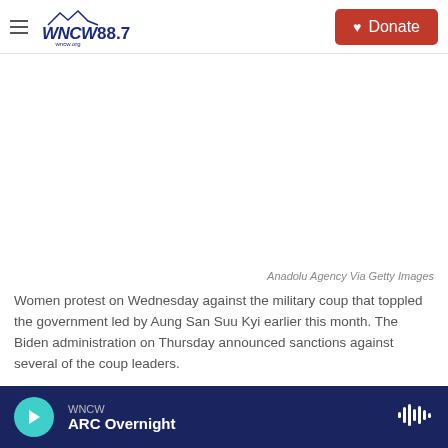WNCW 88.7 | Donate
[Figure (photo): Blank/white image area representing a news photo with credit: Anadolu Agency Via Getty Images]
Anadolu Agency Via Getty Images
Women protest on Wednesday against the military coup that toppled the government led by Aung San Suu Kyi earlier this month. The Biden administration on Thursday announced sanctions against several of the coup leaders.
Updated at 2:51 p.m. ET
WNCW | ARC Overnight